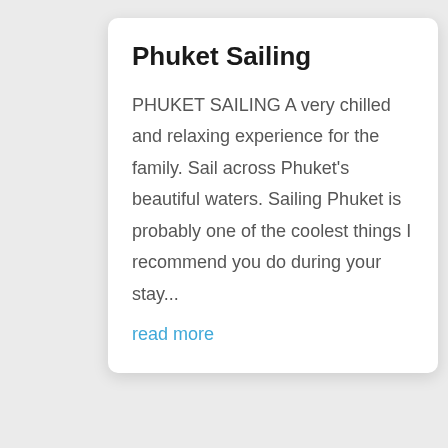Phuket Sailing
PHUKET SAILING A very chilled and relaxing experience for the family. Sail across Phuket's beautiful waters. Sailing Phuket is probably one of the coolest things I recommend you do during your stay...
read more